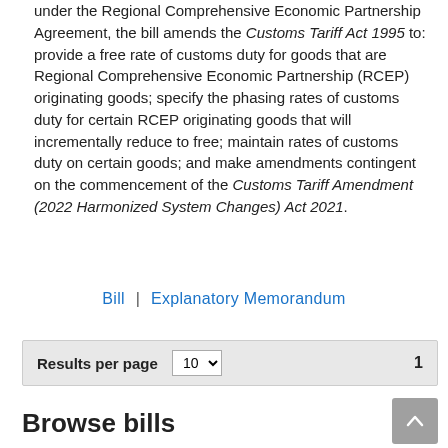under the Regional Comprehensive Economic Partnership Agreement, the bill amends the Customs Tariff Act 1995 to: provide a free rate of customs duty for goods that are Regional Comprehensive Economic Partnership (RCEP) originating goods; specify the phasing rates of customs duty for certain RCEP originating goods that will incrementally reduce to free; maintain rates of customs duty on certain goods; and make amendments contingent on the commencement of the Customs Tariff Amendment (2022 Harmonized System Changes) Act 2021.
Bill | Explanatory Memorandum
Results per page  10  1
Browse bills